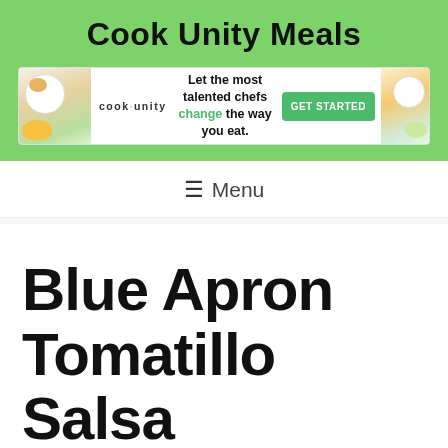Cook Unity Meals
[Figure (other): Cook Unity advertisement banner: logo on left, text 'Let the most talented chefs change the way you eat.' with green 'GET STARTED' button, food photos on sides]
≡ Menu
Blue Apron Tomatillo Salsa
CookUnity uses a package of chef-curated dishes to bring a restaurant experience to